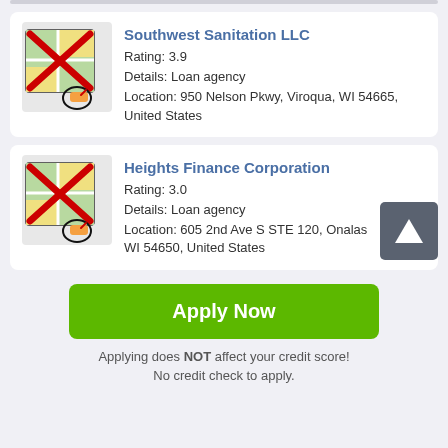[Figure (illustration): Map icon with red X cross and small pencil/marker icon at bottom]
Southwest Sanitation LLC
Rating: 3.9
Details: Loan agency
Location: 950 Nelson Pkwy, Viroqua, WI 54665, United States
[Figure (illustration): Map icon with red X cross and small pencil/marker icon at bottom]
Heights Finance Corporation
Rating: 3.0
Details: Loan agency
Location: 605 2nd Ave S STE 120, Onalaska, WI 54650, United States
Apply Now
Applying does NOT affect your credit score!
No credit check to apply.